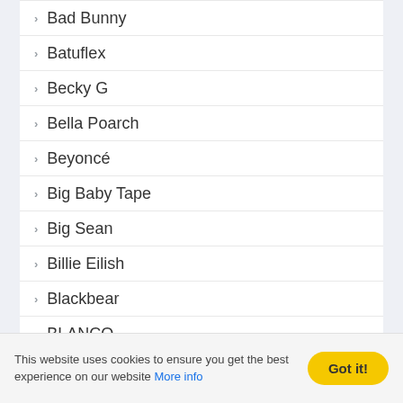Bad Bunny
Batuflex
Becky G
Bella Poarch
Beyoncé
Big Baby Tape
Big Sean
Billie Eilish
Blackbear
BLANCO
Bo Burnham
Booba
Bring Me The Horizon
This website uses cookies to ensure you get the best experience on our website More info   Got it!